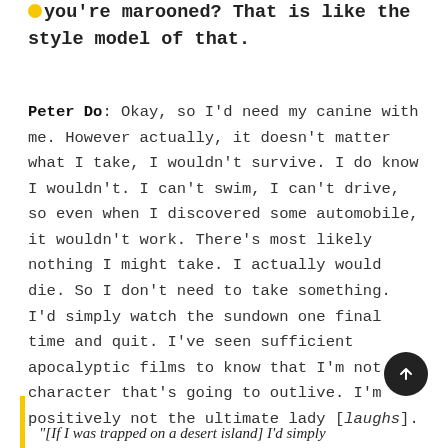you're marooned? That is like the style model of that.
Peter Do: Okay, so I'd need my canine with me. However actually, it doesn't matter what I take, I wouldn't survive. I do know I wouldn't. I can't swim, I can't drive, so even when I discovered some automobile, it wouldn't work. There's most likely nothing I might take. I actually would die. So I don't need to take something. I'd simply watch the sundown one final time and quit. I've seen sufficient apocalyptic films to know that I'm not the character that's going to outlive. I'm positively not the ultimate lady [laughs].
"[If I was trapped on a desert island] I'd simply